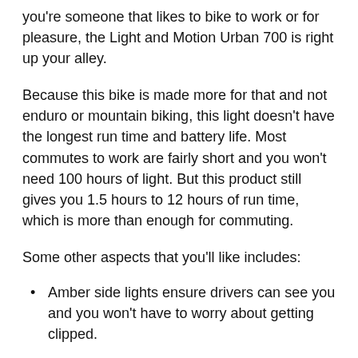you're someone that likes to bike to work or for pleasure, the Light and Motion Urban 700 is right up your alley.
Because this bike is made more for that and not enduro or mountain biking, this light doesn't have the longest run time and battery life. Most commutes to work are fairly short and you won't need 100 hours of light. But this product still gives you 1.5 hours to 12 hours of run time, which is more than enough for commuting.
Some other aspects that you'll like includes:
Amber side lights ensure drivers can see you and you won't have to worry about getting clipped.